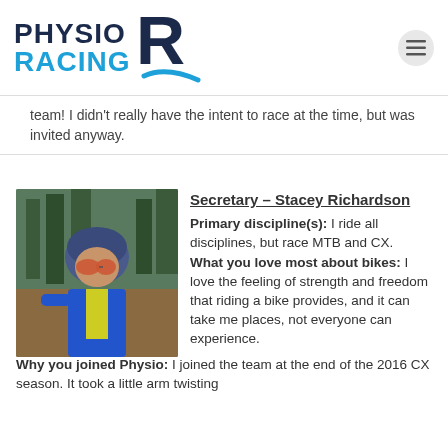[Figure (logo): Physio Racing logo with stylized R]
team! I didn’t really have the intent to race at the time, but was invited anyway.
[Figure (photo): Woman cyclist selfie wearing blue helmet and orange sunglasses]
Secretary – Stacey Richardson
Primary discipline(s): I ride all disciplines, but race MTB and CX.
What you love most about bikes: I love the feeling of strength and freedom that riding a bike provides, and it can take me places, not everyone can experience.
Why you joined Physio: I joined the team at the end of the 2016 CX season. It took a little arm twisting